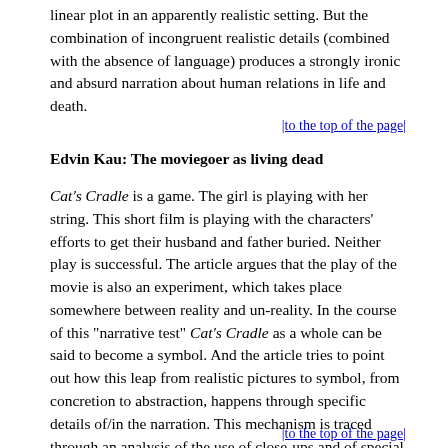linear plot in an apparently realistic setting. But the combination of incongruent realistic details (combined with the absence of language) produces a strongly ironic and absurd narration about human relations in life and death.
|to the top of the page|
Edvin Kau: The moviegoer as living dead
Cat's Cradle is a game. The girl is playing with her string. This short film is playing with the characters' efforts to get their husband and father buried. Neither play is successful. The article argues that the play of the movie is also an experiment, which takes place somewhere between reality and un-reality. In the course of this "narrative test" Cat's Cradle as a whole can be said to become a symbol. And the article tries to point out how this leap from realistic pictures to symbol, from concretion to abstraction, happens through specific details of/in the narration. This mechanism is traced through an analysis of the use of close-ups and of special sound qualities.
|to the top of the page|